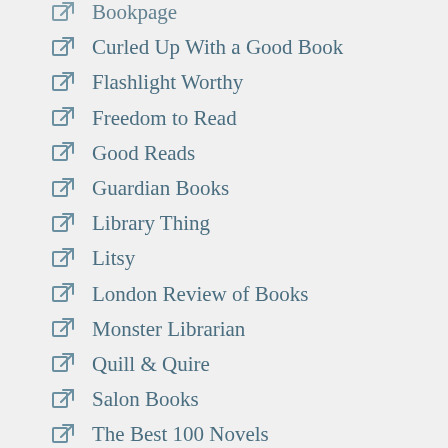Bookpage
Curled Up With a Good Book
Flashlight Worthy
Freedom to Read
Good Reads
Guardian Books
Library Thing
Litsy
London Review of Books
Monster Librarian
Quill & Quire
Salon Books
The Best 100 Novels
The Book Depository
The Book...